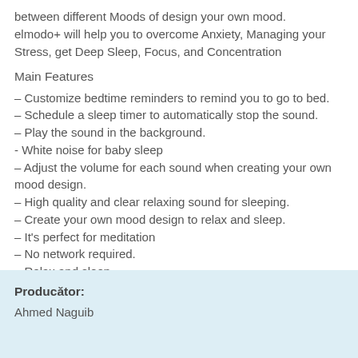between different Moods of design your own mood. elmodo+ will help you to overcome Anxiety, Managing your Stress, get Deep Sleep, Focus, and Concentration
Main Features
– Customize bedtime reminders to remind you to go to bed.
– Schedule a sleep timer to automatically stop the sound.
– Play the sound in the background.
- White noise for baby sleep
– Adjust the volume for each sound when creating your own mood design.
– High quality and clear relaxing sound for sleeping.
– Create your own mood design to relax and sleep.
– It's perfect for meditation
– No network required.
– Relax and sleep.
Producător:
Ahmed Naguib